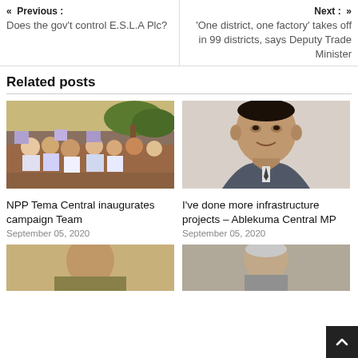« Previous : Does the gov't control E.S.L.A Plc?
Next : » 'One district, one factory' takes off in 99 districts, says Deputy Trade Minister
Related posts
[Figure (photo): Group of NPP supporters holding campaign signs outdoors under trees]
NPP Tema Central inaugurates campaign Team
September 05, 2020
[Figure (photo): Portrait of a man in a suit, Ablekuma Central MP]
I've done more infrastructure projects – Ablekuma Central MP
September 05, 2020
[Figure (photo): Partially visible person at bottom left]
[Figure (photo): Partially visible elderly person at bottom right]